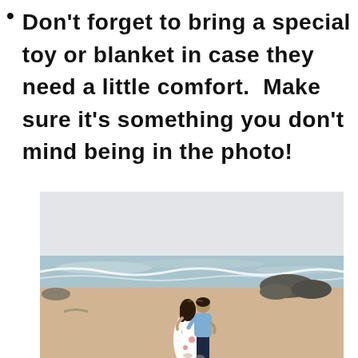Don't forget to bring a special toy or blanket in case they need a little comfort.  Make sure it's something you don't mind being in the photo!
[Figure (photo): A couple kissing on a beach. The woman wears a white floral dress and the man wears a light blue shirt and dark pants. Sandy beach with ocean waves and rocks in the background under an overcast sky.]